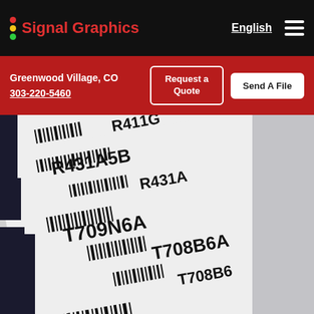Signal Graphics | English | Navigation
Greenwood Village, CO
303-220-5460
Request a Quote
Send A File
[Figure (photo): Close-up photograph of white barcode labels on dark navy background, showing multiple stacked labels with barcodes and alphanumeric codes: R411G, R431A5B, R431A, R431, R709N6A, T708B6A, T708B6, T762D6B]